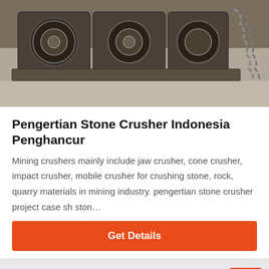[Figure (photo): Close-up photo of industrial stone crusher machinery parts including metal rollers and chains on a concrete floor]
Pengertian Stone Crusher Indonesia Penghancur
Mining crushers mainly include jaw crusher, cone crusher, impact crusher, mobile crusher for crushing stone, rock, quarry materials in mining industry. pengertian stone crusher project case sh ston…
Get Details
[Figure (screenshot): Gray background section with orange scroll-to-top arrow button]
Leave Message
Chat Online